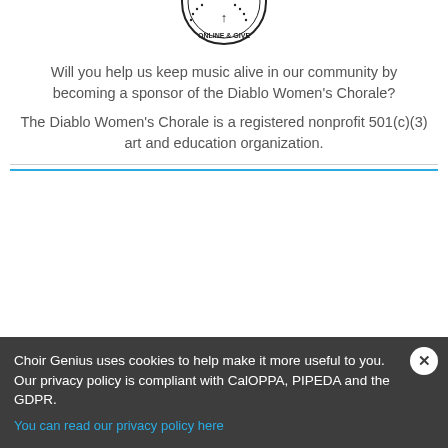[Figure (logo): Circular stamp logo with text 'ONLINE & GIVE' and decorative elements, partially cropped at top]
Will you help us keep music alive in our community by becoming a sponsor of the Diablo Women's Chorale?
The Diablo Women's Chorale is a registered nonprofit 501(c)(3) art and education organization.
Choir Genius uses cookies to help make it more useful to you. Our privacy policy is compliant with CalOPPA, PIPEDA and the GDPR.
You can read our privacy policy here